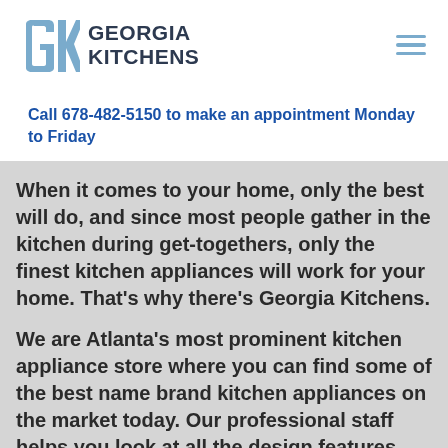[Figure (logo): Georgia Kitchens logo: stylized GK letters in light blue with dark navy text GEORGIA KITCHENS]
Call 678-482-5150 to make an appointment Monday to Friday
When it comes to your home, only the best will do, and since most people gather in the kitchen during get-togethers, only the finest kitchen appliances will work for your home. That’s why there’s Georgia Kitchens.
We are Atlanta’s most prominent kitchen appliance store where you can find some of the best name brand kitchen appliances on the market today. Our professional staff helps you look at all the design features and functionalities to create the kitchen you need. Visit our world-class showroom to see what the kitchen of the future looks like today.